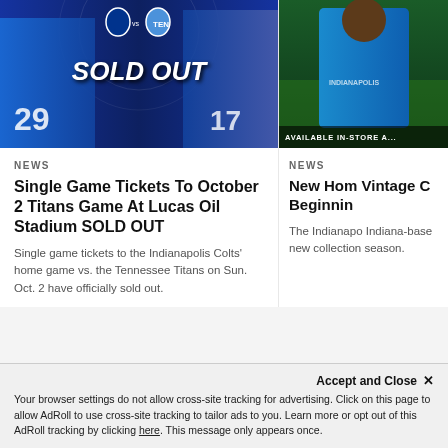[Figure (photo): Sports promotional image showing two NFL players (Indianapolis Colts #29 in blue and Tennessee Titans #17) against a dark blue background with 'SOLD OUT' text overlay and team logos]
NEWS
Single Game Tickets To October 2 Titans Game At Lucas Oil Stadium SOLD OUT
Single game tickets to the Indianapolis Colts' home game vs. the Tennessee Titans on Sun. Oct. 2 have officially sold out.
[Figure (photo): Person wearing a blue hoodie standing outdoors, with 'AVAILABLE IN-STORE A...' text overlay at the bottom]
NEWS
New Hom Vintage C Beginnin
The Indianapo Indiana-base new collection season.
Accept and Close ✕
Your browser settings do not allow cross-site tracking for advertising. Click on this page to allow AdRoll to use cross-site tracking to tailor ads to you. Learn more or opt out of this AdRoll tracking by clicking here. This message only appears once.